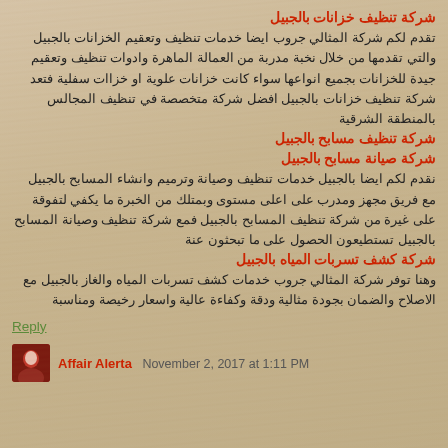شركة تنظيف خزانات بالجبيل
تقدم لكم شركة المثالي جروب ايضا خدمات تنظيف وتعقيم الخزانات بالجبيل والتي تقدمها من خلال نخبة مدربة من العمالة الماهرة وادوات تنظيف وتعقيم جيدة للخزانات بجميع انواعها سواء كانت خزانات علوية او خزاات سفلية فتعد شركة تنظيف خزانات بالجبيل افضل شركة متخصصة في تنظيف المجالس بالمنطقة الشرقية
شركة تنظيف مسابح بالجبيل
شركة صيانة مسابح بالجبيل
نقدم لكم ايضا بالجبيل خدمات تنظيف وصيانة وترميم وانشاء المسابح بالجبيل مع فريق مجهز ومدرب على اعلى مستوى وبمتلك من الخبرة ما يكفي لتفوقة على غيرة من شركة تنظيف المسابح بالجبيل فمع شركة تنظيف وصيانة المسابح بالجبيل تستطيعون الحصول على ما تبحثون عنة
شركة كشف تسربات المياه بالجبيل
وهنا توفر شركة المثالي جروب خدمات كشف تسربات المياه والغاز بالجبيل مع الاصلاح والضمان بجودة مثالية ودقة وكفاءة عالية واسعار رخيصة ومناسبة
Reply
Affair Alerta November 2, 2017 at 1:11 PM